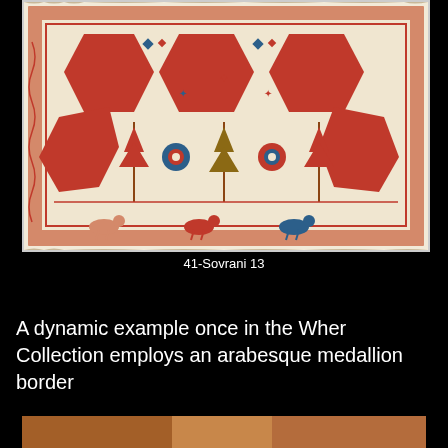[Figure (photo): Antique Caucasian rug with geometric and floral motifs, featuring red-orange medallion shapes on an ivory/cream ground, with stylized animal and plant forms in red, blue, and terracotta. The rug has multiple decorative borders.]
41-Sovrani 13
A dynamic example once in the Wher Collection employs an arabesque medallion border
[Figure (photo): Partial view of another antique rug at the bottom of the page, showing warm terracotta and brown tones.]